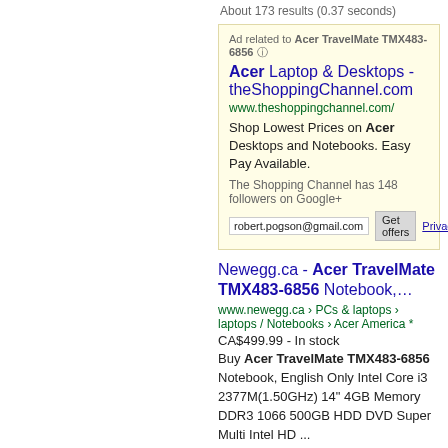About 173 results (0.37 seconds)
Ad related to Acer TravelMate TMX483-6856 ①
Acer Laptop & Desktops - theShoppingChannel.com
www.theshoppingchannel.com/
Shop Lowest Prices on Acer Desktops and Notebooks. Easy Pay Available.
The Shopping Channel has 148 followers on Google+
Newegg.ca - Acer TravelMate TMX483-6856 Notebook,...
www.newegg.ca › PCs & laptops › Laptops / Notebooks › Acer America *
CA$499.99 - In stock
Buy Acer TravelMate TMX483-6856 Notebook, English Only Intel Core i3 2377M(1.50GHz) 14" 4GB Memory DDR3 1066 500GB HDD DVD Super Multi Intel HD ...
Robert Pogson says:
June 8, 2013 at 11:14 am
bw wrote,  "These kids do not have any such experience with Linux on PC
So, (sarcasm) you think M$ and Apple is in human DN and click and figure things out rapidly. I have seen my problems running the browser and several other applica